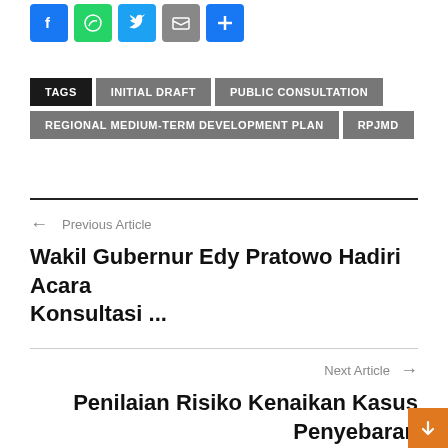[Figure (illustration): Social media share icons: Facebook (blue), WhatsApp (green), Twitter (blue), email/print (gray), plus/share (blue)]
TAGS  INITIAL DRAFT  PUBLIC CONSULTATION  REGIONAL MEDIUM-TERM DEVELOPMENT PLAN  RPJMD
← Previous Article
Wakil Gubernur Edy Pratowo Hadiri Acara Konsultasi ...
Next Article →
Penilaian Risiko Kenaikan Kasus Penyebaran Covid-19 Kalteng ...